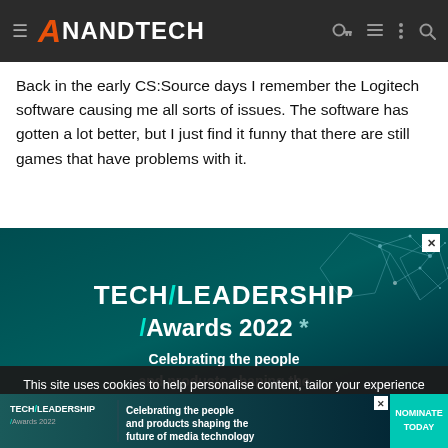AnandTech
Back in the early CS:Source days I remember the Logitech software causing me all sorts of issues. The software has gotten a lot better, but I just find it funny that there are still games that have problems with it.
[Figure (infographic): Tech/Leadership Awards 2022 advertisement banner on dark teal background with network graphic decoration. Text: TECH/LEADERSHIP Awards 2022 — Celebrating the people and products shaping the]
This site uses cookies to help personalise content, tailor your experience and to keep you logged in if you register.
By continuing to use this site, you are consenting to our use of cookies.
[Figure (infographic): Bottom banner ad: Tech/Leadership Awards 2022 — Celebrating the people and products shaping the future of media technology — NOMINATE TODAY]